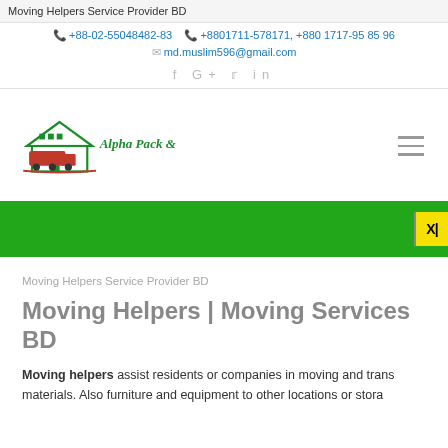Moving Helpers Service Provider BD
+88-02-55048482-83   +8801711-578171, +880 1717-95 85 96
md.muslim596@gmail.com
f  G+  twitter  in
[Figure (logo): Alpha Pack & Shift logo with house and truck graphic in green and red, with company name in green italic text]
[Figure (infographic): Green navigation banner with an XI badge on the right side]
Moving Helpers Service Provider BD
Moving Helpers | Moving Services BD
Moving helpers assist residents or companies in moving and trans materials. Also furniture and equipment to other locations or stora